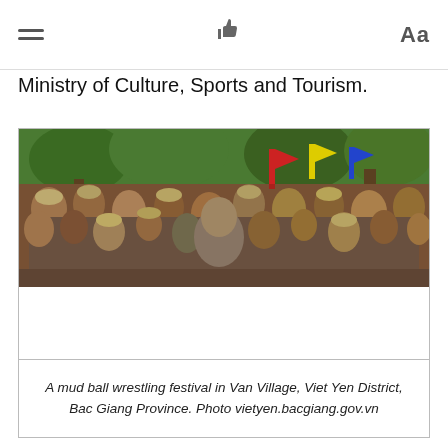≡  👍  Aa
Ministry of Culture, Sports and Tourism.
[Figure (photo): A large crowd of people gathered outdoors for a mud ball wrestling festival in Van Village, Viet Yen District, Bac Giang Province. Trees visible in the background.]
A mud ball wrestling festival in Van Village, Viet Yen District, Bac Giang Province. Photo vietyen.bacgiang.gov.vn